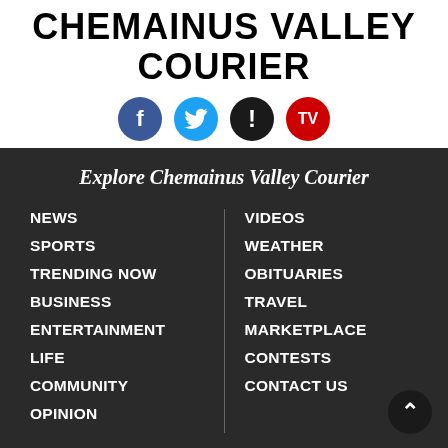CHEMAINUS VALLEY COURIER
[Figure (logo): Social media icons: Facebook (blue circle with f), Twitter (blue circle with bird), Alert (black circle with !), TV (red circle with TV text)]
Explore Chemainus Valley Courier
NEWS
SPORTS
TRENDING NOW
BUSINESS
ENTERTAINMENT
LIFE
COMMUNITY
OPINION
VIDEOS
WEATHER
OBITUARIES
TRAVEL
MARKETPLACE
CONTESTS
CONTACT US